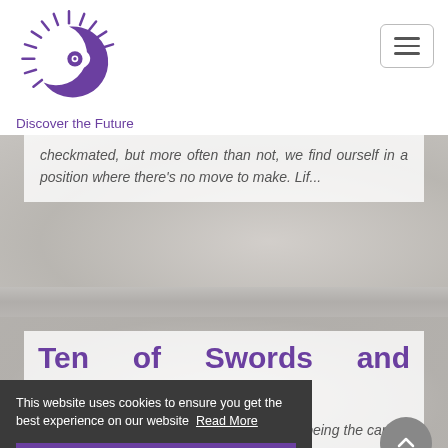[Figure (logo): Purple eye with rays logo for Discover the Future website]
Discover the Future
checkmated, but more often than not, we find ourself in a position where there's no move to make. Lif...
Ten of Swords and Justice
ard of the deck, after a period of e Justice, being the card of cause and effect, clears the waters for us
This website uses cookies to ensure you get the best experience on our website Read More
Got it!